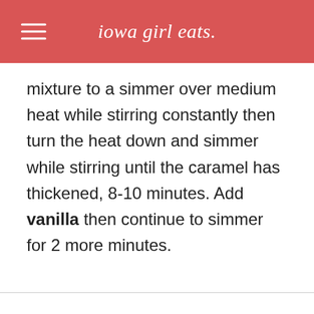iowa girl eats.
mixture to a simmer over medium heat while stirring constantly then turn the heat down and simmer while stirring until the caramel has thickened, 8-10 minutes. Add vanilla then continue to simmer for 2 more minutes.